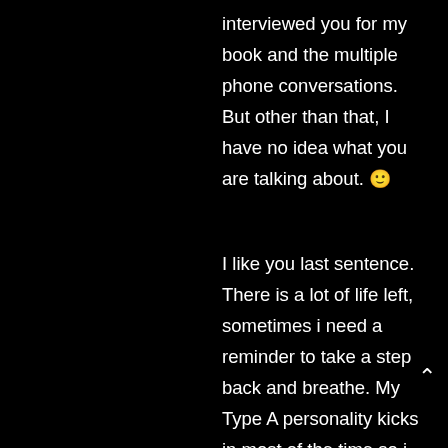interviewed you for my book and the multiple phone conversations. But other than that, I have no idea what you are talking about. 🙂
I like you last sentence. There is a lot of life left, sometimes i need a reminder to take a step back and breathe. My Type A personality kicks in most of the time so i feel like if I am not doing "something" than I am a lazy...